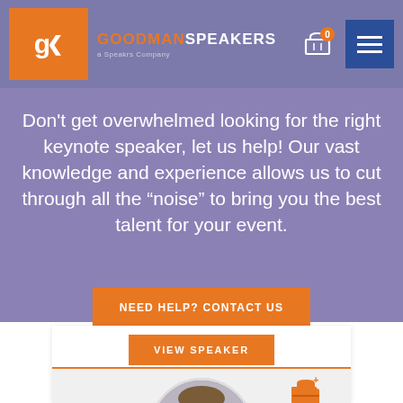[Figure (logo): Goodman Speakers logo with orange G< icon and brand name]
Don't get overwhelmed looking for the right keynote speaker, let us help! Our vast knowledge and experience allows us to cut through all the “noise” to bring you the best talent for your event.
NEED HELP? CONTACT US
VIEW SPEAKER
[Figure (photo): Circular portrait photo of a man in front of an American flag, partially visible at bottom of page]